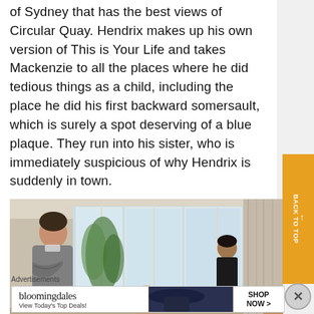of Sydney that has the best views of Circular Quay. Hendrix makes up his own version of This is Your Life and takes Mackenzie to all the places where he did tedious things as a child, including the place he did his first backward somersault, which is surely a spot deserving of a blue plaque. They run into his sister, who is immediately suspicious of why Hendrix is suddenly in town.
[Figure (photo): Indoor scene with people in a room with large windows. A man with arms crossed stands on the left, a person in black stands in the center background, and other figures are partially visible.]
BACK TO TOP
Advertisements
[Figure (other): Bloomingdale's advertisement banner with text 'bloomingdales', 'View Today's Top Deals!' and 'SHOP NOW >' button, featuring a woman in a wide-brim hat.]